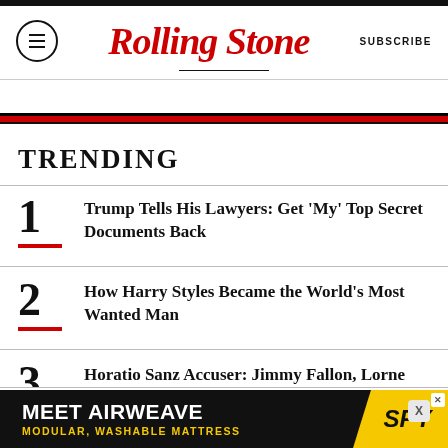Rolling Stone | SUBSCRIBE
TRENDING
1 Trump Tells His Lawyers: Get ‘My’ Top Secret Documents Back
2 How Harry Styles Became the World's Most Wanted Man
3 Horatio Sanz Accuser: Jimmy Fallon, Lorne Michaels, Tracy Morgan ‘Enabled Sexual Assault and Battery’
[Figure (other): Advertisement banner for Airweave mattress with SPY logo]